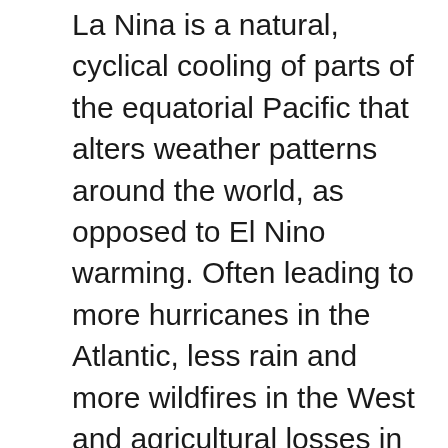La Nina is a natural, cyclical cooling of parts of the equatorial Pacific that alters weather patterns around the world, as opposed to El Nino warming. Often leading to more hurricanes in the Atlantic, less rain and more wildfires in the West and agricultural losses in the middle of the country, studies have shown that La Nina costs more in the United States than El-Nino. Together, El Nino, La Nina and the Neutral Condition are called ENSO, which stands for El Nino Southern Oscillation, and they have one of the most significant natural effects on the climate, sometimes increasing and sometimes mitigating the significant effects of climate change d human origin. from burning coal, oil and gas, the scientists said.